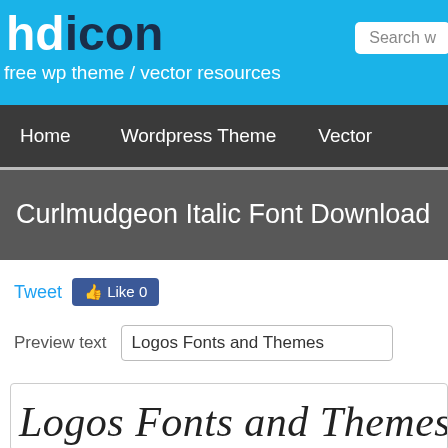hdicon — free wp theme / vector resources
Home   Wordpress Theme   Vector
Curlmudgeon Italic Font Download
Tweet  Like 0
Preview text   Logos Fonts and Themes
[Figure (other): Font preview rendering of 'Logos Fonts and Themes' in Curlmudgeon Italic handwritten-style font]